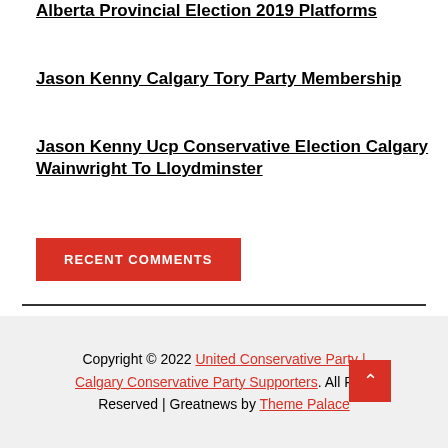Alberta Provincial Election 2019 Platforms
Jason Kenny Calgary Tory Party Membership
Jason Kenny Ucp Conservative Election Calgary Wainwright To Lloydminster
RECENT COMMENTS
Copyright © 2022 United Conservative Party | Calgary Conservative Party Supporters. All Rights Reserved | Greatnews by Theme Palace